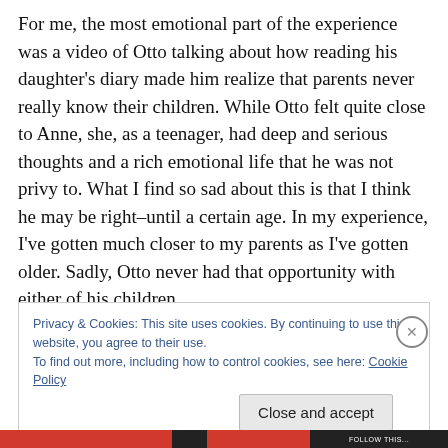For me, the most emotional part of the experience was a video of Otto talking about how reading his daughter's diary made him realize that parents never really know their children. While Otto felt quite close to Anne, she, as a teenager, had deep and serious thoughts and a rich emotional life that he was not privy to. What I find so sad about this is that I think he may be right–until a certain age. In my experience, I've gotten much closer to my parents as I've gotten older. Sadly, Otto never had that opportunity with either of his children.
Privacy & Cookies: This site uses cookies. By continuing to use this website, you agree to their use.
To find out more, including how to control cookies, see here: Cookie Policy